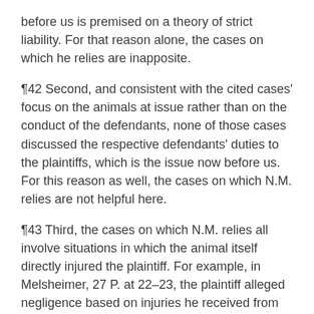before us is premised on a theory of strict liability. For that reason alone, the cases on which he relies are inapposite.
¶42 Second, and consistent with the cited cases' focus on the animals at issue rather than on the conduct of the defendants, none of those cases discussed the respective defendants' duties to the plaintiffs, which is the issue now before us. For this reason as well, the cases on which N.M. relies are not helpful here.
¶43 Third, the cases on which N.M. relies all involve situations in which the animal itself directly injured the plaintiff. For example, in Melsheimer, 27 P. at 22–23, the plaintiff alleged negligence based on injuries he received from being bitten and otherwise injured by the defendant's dog, which was a watchdog that had been trained to attack trespassers. Similarly, in Barger, 276 P.2d at 460–61, the defendants' dog had broken from its restraints and was